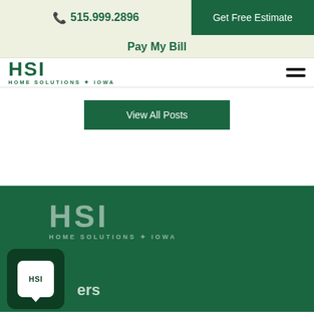515.999.2896 | Get Free Estimate
Pay My Bill
[Figure (logo): HSI Home Solutions of Iowa logo in dark green with hamburger menu icon]
View All Posts
[Figure (logo): HSI Home Solutions of Iowa logo in white/gray on dark green footer background]
[Figure (other): HSI chat widget icon in dark green rounded square with white chat bubble]